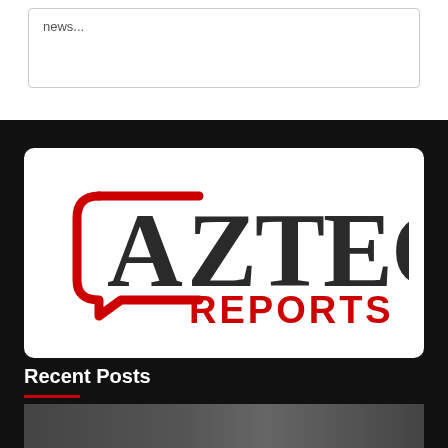news...
[Figure (logo): Aztec Reports logo — red speech-bubble bracket on the left with large dark serif 'AZTEC' text and bold red 'REPORTS' text below on a white rounded rectangle background]
Recent Posts
[Figure (photo): A partial strip photo at the bottom, partially visible, appears to show a person or scene in grayscale]